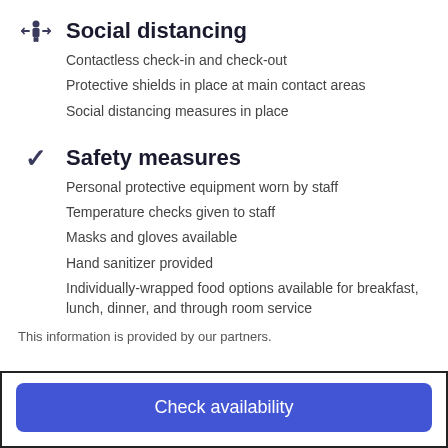Social distancing
Contactless check-in and check-out
Protective shields in place at main contact areas
Social distancing measures in place
Safety measures
Personal protective equipment worn by staff
Temperature checks given to staff
Masks and gloves available
Hand sanitizer provided
Individually-wrapped food options available for breakfast, lunch, dinner, and through room service
This information is provided by our partners.
Check availability